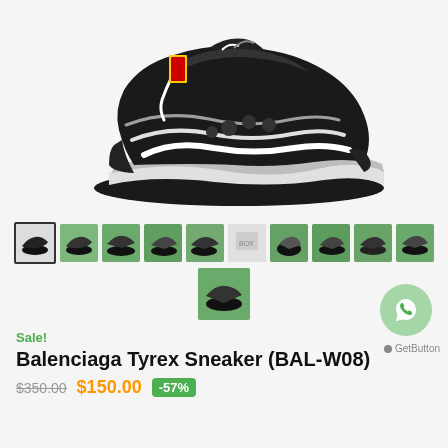[Figure (photo): Balenciaga Tyrex sneaker, black and silver/white colorway, chunky sole, side view on white background]
[Figure (photo): Row of 10 thumbnail images of the Balenciaga Tyrex sneaker from various angles, plus one additional thumbnail on second row]
Sale!
Balenciaga Tyrex Sneaker (BAL-W08)
$350.00  $150.00  -57%